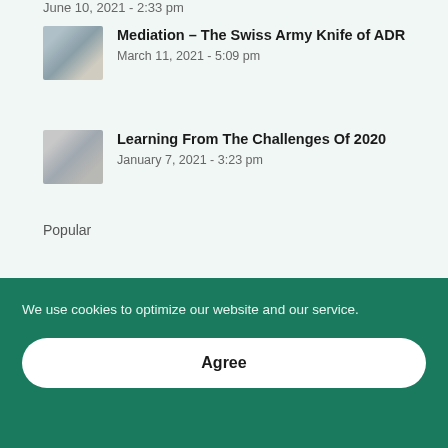June 10, 2021 - 2:33 pm
Mediation – The Swiss Army Knife of ADR
March 11, 2021 - 5:09 pm
Learning From The Challenges Of 2020
January 7, 2021 - 3:23 pm
Popular
Categories
We use cookies to optimize our website and our service.
Agree